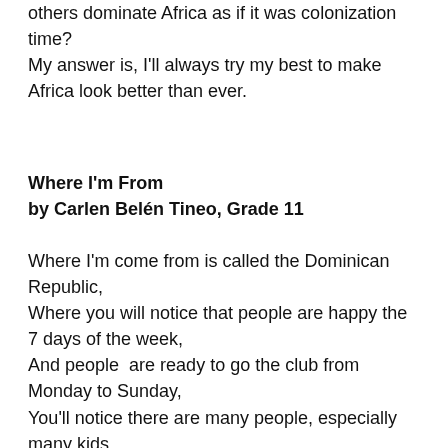others dominate Africa as if it was colonization time? My answer is, I'll always try my best to make Africa look better than ever.
Where I'm From
by Carlen Belén Tineo, Grade 11
Where I'm come from is called the Dominican Republic,
Where you will notice that people are happy the 7 days of the week,
And people  are ready to go the club from Monday to Sunday,
You'll notice there are many people, especially many kids,
Playing around, and many animals abandoned in the street, too.
Where I'm from, the temperature is always hot. You can even cook an egg here outside in the hot weather you can cook an egg.
Where I'm from, all the people call you Primo, Hermano or